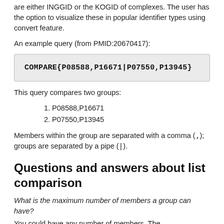are either INGGID or the KOGID of complexes. The user has the option to visualize these in popular identifier types using convert feature.
An example query (from PMID:20670417):
COMPARE{P08588,P16671|P07550,P13945}
This query compares two groups:
1. P08588,P16671
2. P07550,P13945
Members within the group are separated with a comma (,); groups are separated by a pipe (|).
Questions and answers about list comparison
What is the maximum number of members a group can have?
You could have any number of members. The...